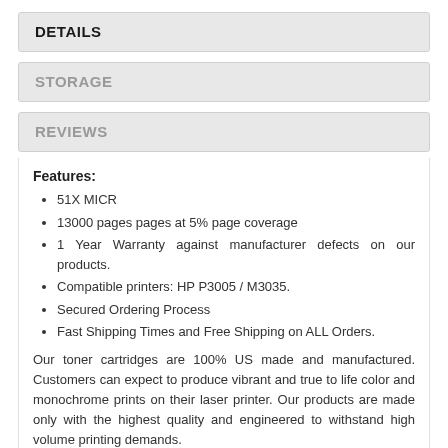DETAILS
STORAGE
REVIEWS
Features:
51X MICR
13000 pages pages at 5% page coverage
1 Year Warranty against manufacturer defects on our products.
Compatible printers: HP P3005 / M3035.
Secured Ordering Process
Fast Shipping Times and Free Shipping on ALL Orders.
Our toner cartridges are 100% US made and manufactured. Customers can expect to produce vibrant and true to life color and monochrome prints on their laser printer. Our products are made only with the highest quality and engineered to withstand high volume printing demands.
To set a life and its to help and more to print